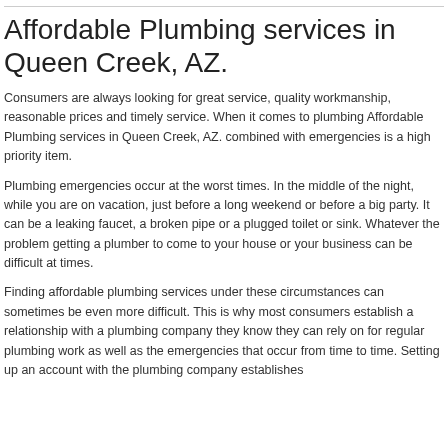Affordable Plumbing services in Queen Creek, AZ.
Consumers are always looking for great service, quality workmanship, reasonable prices and timely service. When it comes to plumbing Affordable Plumbing services in Queen Creek, AZ. combined with emergencies is a high priority item.
Plumbing emergencies occur at the worst times. In the middle of the night, while you are on vacation, just before a long weekend or before a big party. It can be a leaking faucet, a broken pipe or a plugged toilet or sink. Whatever the problem getting a plumber to come to your house or your business can be difficult at times.
Finding affordable plumbing services under these circumstances can sometimes be even more difficult. This is why most consumers establish a relationship with a plumbing company they know they can rely on for regular plumbing work as well as the emergencies that occur from time to time. Setting up an account with the plumbing company establishes